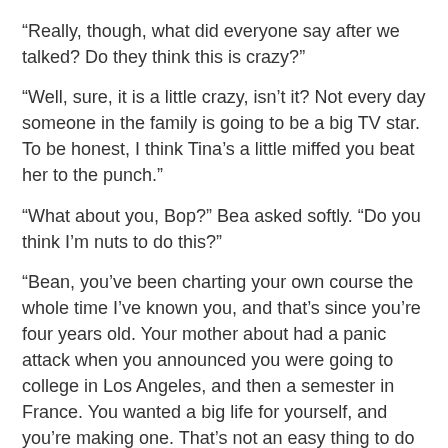“Really, though, what did everyone say after we talked? Do they think this is crazy?”
“Well, sure, it is a little crazy, isn’t it? Not every day someone in the family is going to be a big TV star. To be honest, I think Tina’s a little miffed you beat her to the punch.”
“What about you, Bop?” Bea asked softly. “Do you think I’m nuts to do this?”
“Bean, you’ve been charting your own course the whole time I’ve known you, and that’s since you’re four years old. Your mother about had a panic attack when you announced you were going to college in Los Angeles, and then a semester in France. You wanted a big life for yourself, and you’re making one. That’s not an easy thing to do either.”
“So you don’t think America is going to hate me?”
Bob laughed. “America makes all kinds of bad decisions—